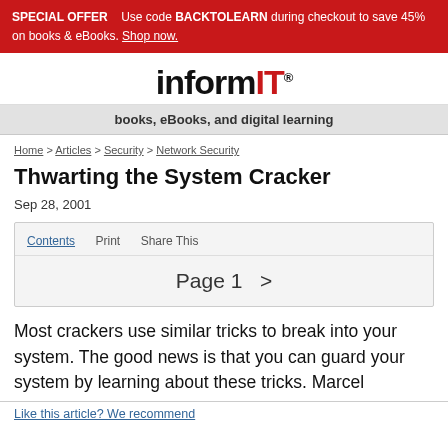SPECIAL OFFER  Use code BACKTOLEARN during checkout to save 45% on books & eBooks. Shop now.
[Figure (logo): InformIT logo — 'inform' in black bold, 'IT' in red bold, registered trademark symbol]
books, eBooks, and digital learning
Home > Articles > Security > Network Security
Thwarting the System Cracker
Sep 28, 2001
Contents  Print  Share This
Page 1  >
Most crackers use similar tricks to break into your system. The good news is that you can guard your system by learning about these tricks. Marcel
Like this article? We recommend